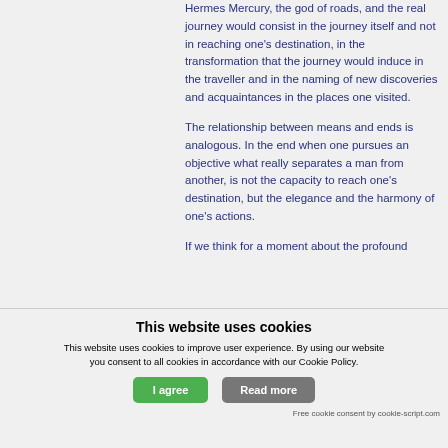Hermes Mercury, the god of roads, and the real journey would consist in the journey itself and not in reaching one's destination, in the transformation that the journey would induce in the traveller and in the naming of new discoveries and acquaintances in the places one visited.
The relationship between means and ends is analogous. In the end when one pursues an objective what really separates a man from another, is not the capacity to reach one's destination, but the elegance and the harmony of one's actions.
If we think for a moment about the profound
This website uses cookies
This website uses cookies to improve user experience. By using our website you consent to all cookies in accordance with our Cookie Policy.
Free cookie consent by cookie-script.com